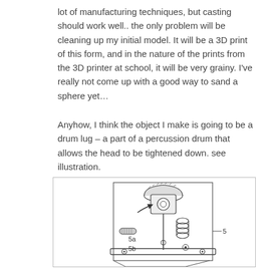lot of manufacturing techniques, but casting should work well.. the only problem will be cleaning up my initial model. It will be a 3D print of this form, and in the nature of the prints from the 3D printer at school, it will be very grainy. I've really not come up with a good way to sand a sphere yet…
Anyhow, I think the object I make is going to be a drum lug – a part of a percussion drum that allows the head to be tightened down. see illustration.
[Figure (illustration): Technical illustration of a drum lug assembly showing a mechanical component with labeled parts 5a, 5b, and 5. The lug shows a threaded rod mechanism with a mounting plate, tension rod, and body cap.]